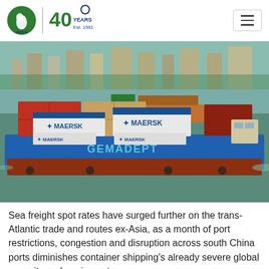Metro Freight – 40 Years Est. 1981
[Figure (photo): Aerial view of a river barge loaded with Maersk shipping containers, traveling on a river. The barge is blue with 'GEMADEPT' written on its side. Multiple Maersk containers are stacked on deck. Background shows a river, a second barge, and a cityscape.]
Sea freight spot rates have surged further on the trans-Atlantic trade and routes ex-Asia, as a month of port restrictions, congestion and disruption across south China ports diminishes container shipping's already severe global capacity and equipment